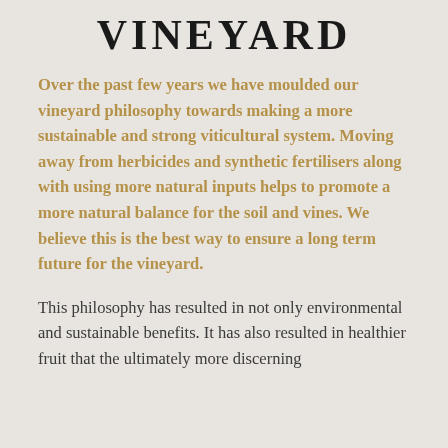Vineyard
Over the past few years we have moulded our vineyard philosophy towards making a more sustainable and strong viticultural system. Moving away from herbicides and synthetic fertilisers along with using more natural inputs helps to promote a more natural balance for the soil and vines. We believe this is the best way to ensure a long term future for the vineyard.
This philosophy has resulted in not only environmental and sustainable benefits. It has also resulted in healthier fruit that the ultimately more discerning...